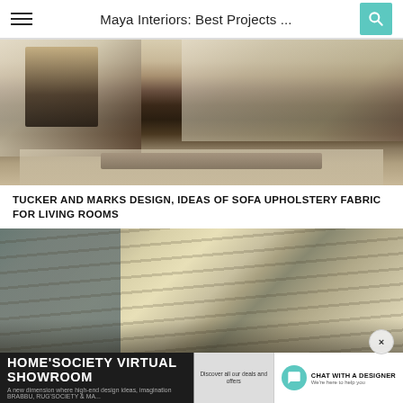Maya Interiors: Best Projects ...
[Figure (photo): Interior living room photo showing a dark coffee table, sofa, armchair, and decorative items on a rug]
TUCKER AND MARKS DESIGN, IDEAS OF SOFA UPHOLSTERY FABRIC FOR LIVING ROOMS
[Figure (photo): Large abstract wall mural or artwork with muted blue, gold, and cream tones resembling a landscape, with chairs visible at the bottom]
[Figure (infographic): HOME'SOCIETY VIRTUAL SHOWROOM advertisement banner at the bottom with chat with a designer button. Subtitle: A new dimension where high-end design ideas, imagination BRABBU, RUG'SOCIETY & MA...]